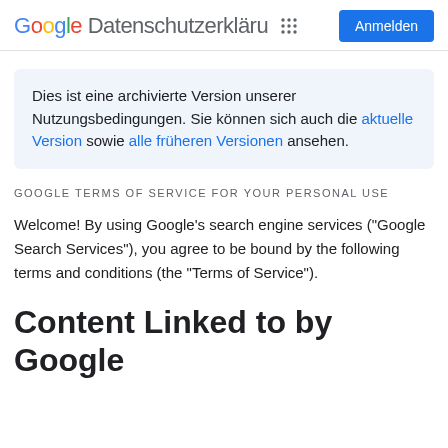Google Datenschutzerklärung   [grid icon]   Anmelden
Dies ist eine archivierte Version unserer Nutzungsbedingungen. Sie können sich auch die aktuelle Version sowie alle früheren Versionen ansehen.
GOOGLE TERMS OF SERVICE FOR YOUR PERSONAL USE
Welcome! By using Google's search engine services ("Google Search Services"), you agree to be bound by the following terms and conditions (the "Terms of Service").
Content Linked to by Google